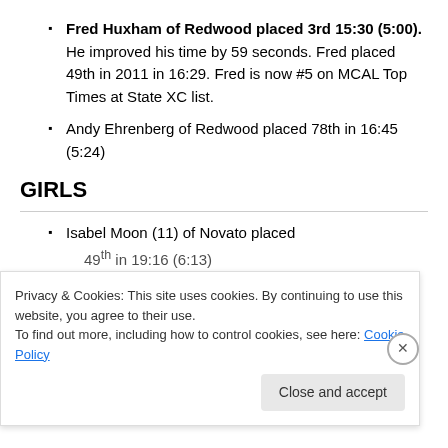Fred Huxham of Redwood placed 3rd 15:30 (5:00). He improved his time by 59 seconds. Fred placed 49th in 2011 in 16:29. Fred is now #5 on MCAL Top Times at State XC list.
Andy Ehrenberg of Redwood placed 78th in 16:45 (5:24)
GIRLS
Isabel Moon (11) of Novato placed
49th in 19:16 (6:13)
Privacy & Cookies: This site uses cookies. By continuing to use this website, you agree to their use.
To find out more, including how to control cookies, see here: Cookie Policy